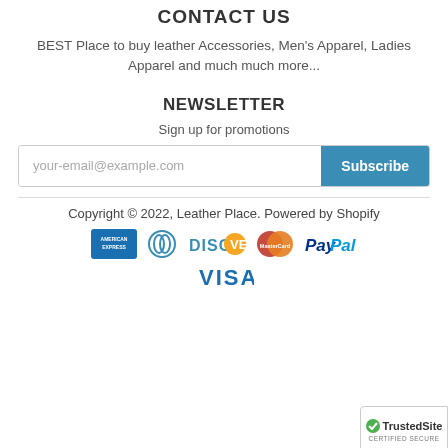CONTACT US
BEST Place to buy leather Accessories, Men's Apparel, Ladies Apparel and much much more...
NEWSLETTER
Sign up for promotions
[Figure (screenshot): Email subscription input field with placeholder 'your-email@example.com' and a teal 'Subscribe' button]
Copyright © 2022, Leather Place. Powered by Shopify
[Figure (other): Payment method logos: American Express, Diners Club, Discover, MasterCard, PayPal, Visa]
[Figure (logo): TrustedSite CERTIFIED SECURE badge in bottom right corner]